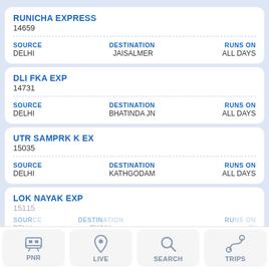RUNICHA EXPRESS
14659
SOURCE: DELHI | DESTINATION: JAISALMER | RUNS ON: ALL DAYS
DLI FKA EXP
14731
SOURCE: DELHI | DESTINATION: BHATINDA JN | RUNS ON: ALL DAYS
UTR SAMPRK K EX
15035
SOURCE: DELHI | DESTINATION: KATHGODAM | RUNS ON: ALL DAYS
LOK NAYAK EXP
PNR | LIVE | SEARCH | TRIPS